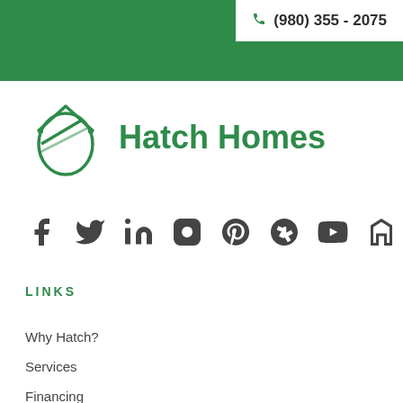(980) 355 - 2075
[Figure (logo): Hatch Homes logo: green house/shield icon with the text Hatch Homes]
[Figure (infographic): Row of social media icons: Facebook, Twitter, LinkedIn, Instagram, Pinterest, Yelp, YouTube, Houzz]
LINKS
Why Hatch?
Services
Financing